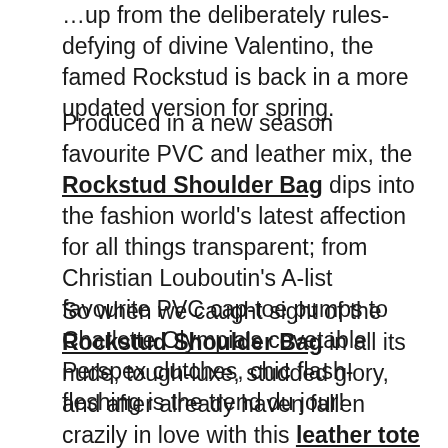…up from the deliberately rules-defying of divine Valentino, the famed Rockstud is back in a more updated version for spring.
Produced in a new season favourite PVC and leather mix, the Rockstud Shoulder Bag dips into the fashion world's latest affection for all things transparent; from Christian Louboutin's A-list favourite PVC cap-toe pumps to Charlotte Olympia's covetable Perspex clutches, chic flash-fleshing is the trend du jour!
So when we caught sight of the Rockstud Shoulder Bag in all its nude, tough-luxe, studded glory, and after already haven fallen crazily in love with this leather tote and divine pumps from the same collection, we couldn't help but size it up for